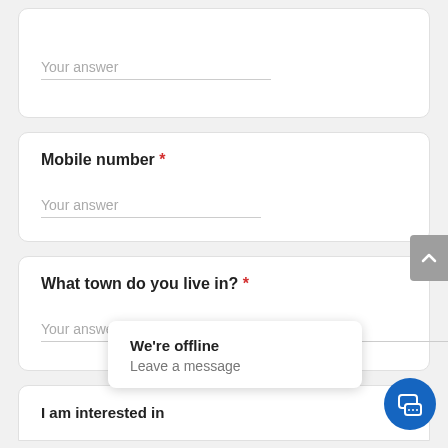Your answer
Mobile number *
Your answer
What town do you live in? *
Your answer
We're offline
Leave a message
I am interested in